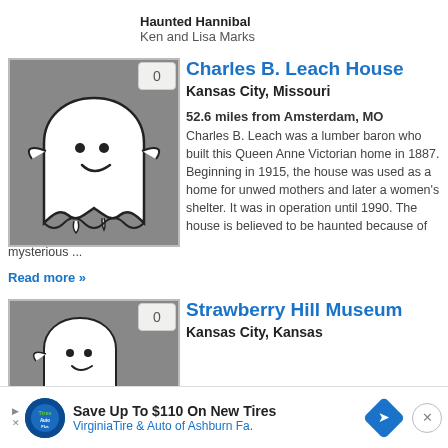Haunted Hannibal
Ken and Lisa Marks
[Figure (illustration): Ghost icon on gray background with badge showing '0']
Charles B. Leach House
Kansas City, Missouri
52.6 miles from Amsterdam, MO
Charles B. Leach was a lumber baron who built this Queen Anne Victorian home in 1887. Beginning in 1915, the house was used as a home for unwed mothers and later a women's shelter. It was in operation until 1990. The house is believed to be haunted because of mysterious ...
Read more »
[Figure (illustration): Ghost icon on gray background with badge showing '0']
Strawberry Hill Museum
Kansas City, Kansas
[Figure (other): Advertisement: Save Up To $110 On New Tires — VirginiaTire & Auto of Ashburn Fa.]